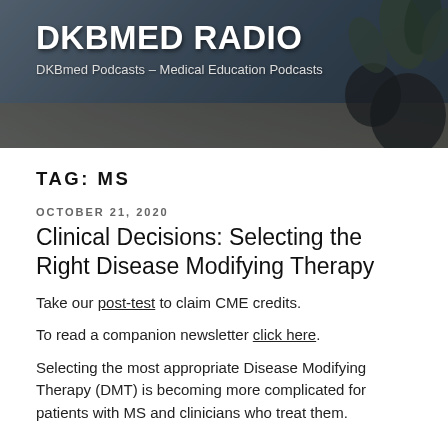[Figure (photo): Dark header banner with plant decoration in background; site branding overlay]
DKBMED RADIO
DKBmed Podcasts – Medical Education Podcasts
TAG: MS
OCTOBER 21, 2020
Clinical Decisions: Selecting the Right Disease Modifying Therapy
Take our post-test to claim CME credits.
To read a companion newsletter click here.
Selecting the most appropriate Disease Modifying Therapy (DMT) is becoming more complicated for patients with MS and clinicians who treat them.